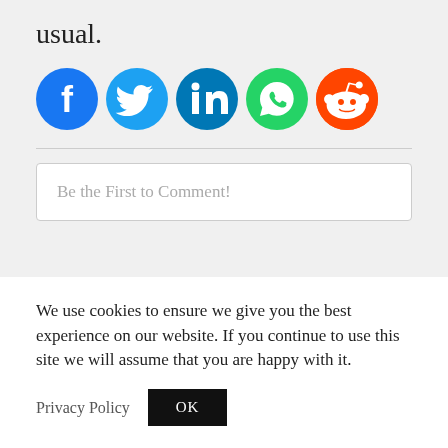usual.
[Figure (logo): Five social media share icons in a row: Facebook (blue), Twitter (light blue), LinkedIn (dark blue), WhatsApp (green), Reddit (orange)]
Be the First to Comment!
We use cookies to ensure we give you the best experience on our website. If you continue to use this site we will assume that you are happy with it.
Privacy Policy   OK